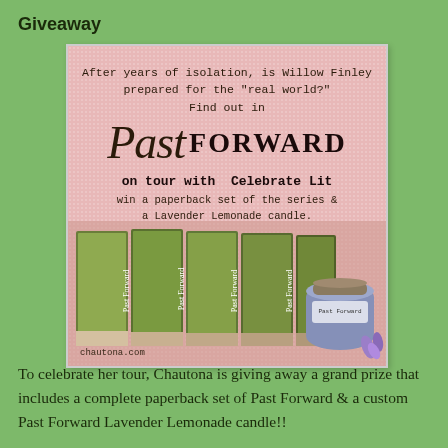Giveaway
[Figure (illustration): Promotional giveaway image for 'Past Forward' book tour with Celebrate Lit. Pink textured background with text and book covers shown at the bottom along with a lavender candle. Text reads: 'After years of isolation, is Willow Finley prepared for the real world? Find out in Past Forward on tour with Celebrate Lit win a paperback set of the series & a Lavender Lemonade candle.' Website: chautona.com]
To celebrate her tour, Chautona is giving away a grand prize that includes a complete paperback set of Past Forward & a custom Past Forward Lavender Lemonade candle!!